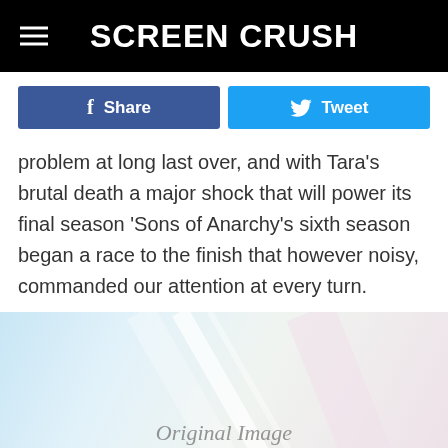Screen Crush
problem at long last over, and with Tara's brutal death a major shock that will power its final season 'Sons of Anarchy's sixth season began a race to the finish that however noisy, commanded our attention at every turn.
[Figure (photo): Light-toned abstract image with diagonal lines and pale blue, white, and pink tones. Watermarked with 'Original Image' text overlay.]
[Figure (photo): Advertisement banner for BitLife mobile game: 'Now with GOD MODE'. Shows BitLife logo, lightning bolt, and cartoon hand pointing.]